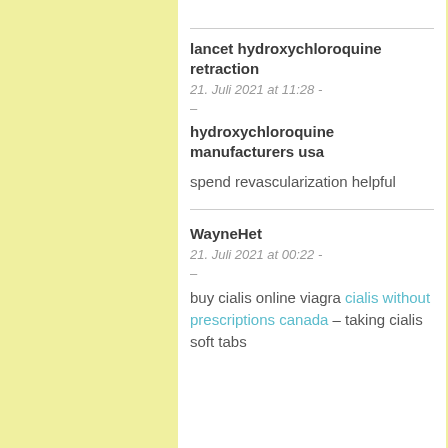lancet hydroxychloroquine retraction
21. Juli 2021 at 11:28 -
–
hydroxychloroquine manufacturers usa
spend revascularization helpful
WayneHet
21. Juli 2021 at 00:22 -
–
buy cialis online viagra cialis without prescriptions canada – taking cialis soft tabs